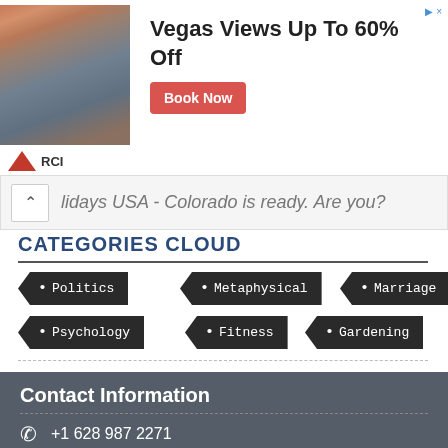[Figure (infographic): Advertisement banner for RCI: 'Vegas Views Up To 60% Off' with a red Book Now button and a photo of two people in a canyon landscape]
lidays USA - Colorado is ready. Are you?
CATEGORIES CLOUD
Politics
Metaphysical
Marriage
Psychology
Fitness
Gardening
Contact Information
+1 628 987 2271
info@articlesfactory.com